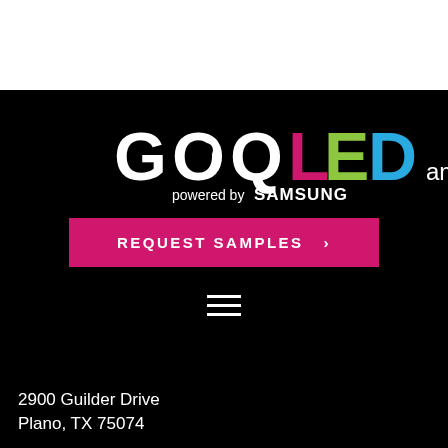[Figure (logo): GOQ LED America logo powered by Samsung, on black background with colored letters: GOQ in white, L in pink, E in green, D in blue, 'america' in white, 'powered by SAMSUNG' below]
REQUEST SAMPLES >
[Figure (other): Hamburger menu icon (three horizontal white lines)]
2900 Guilder Drive
Plano, TX 75074